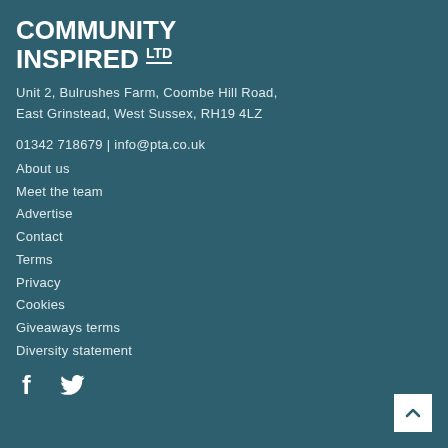COMMUNITY INSPIRED LTD
Unit 2, Bulrushes Farm, Coombe Hill Road, East Grinstead, West Sussex, RH19 4LZ
01342 718679 | info@pta.co.uk
About us
Meet the team
Advertise
Contact
Terms
Privacy
Cookies
Giveaways terms
Diversity statement
[Figure (logo): Facebook and Twitter social media icons in white]